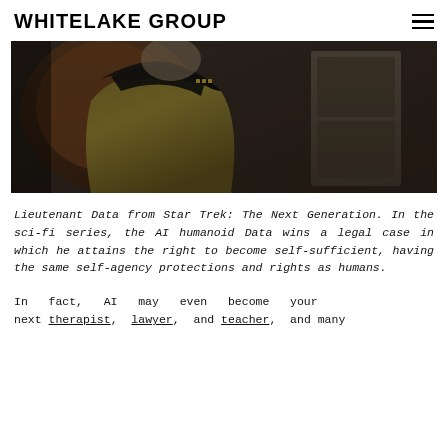WHITELAKE GROUP
[Figure (photo): A dark photograph showing Lieutenant Data from Star Trek: The Next Generation, wearing a gold and black Starfleet uniform, seated in a chair. The background shows a blurred interior room setting.]
Lieutenant Data from Star Trek: The Next Generation. In the sci-fi series, the AI humanoid Data wins a legal case in which he attains the right to become self-sufficient, having the same self-agency protections and rights as humans.
In fact, AI may even become your next therapist, lawyer, and teacher, and many